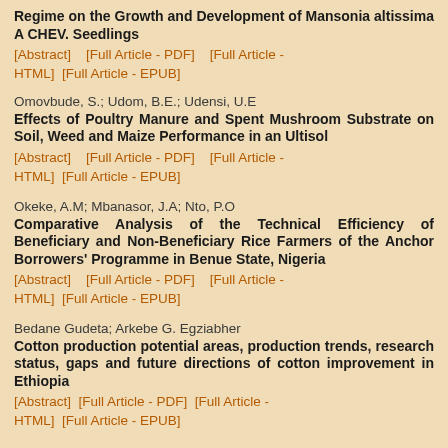Regime on the Growth and Development of Mansonia altissima A CHEV. Seedlings
[Abstract]   [Full Article - PDF]   [Full Article - HTML]  [Full Article - EPUB]
Omovbude, S.; Udom, B.E.; Udensi, U.E
Effects of Poultry Manure and Spent Mushroom Substrate on Soil, Weed and Maize Performance in an Ultisol
[Abstract]   [Full Article - PDF]   [Full Article - HTML]  [Full Article - EPUB]
Okeke, A.M; Mbanasor, J.A; Nto, P.O
Comparative Analysis of the Technical Efficiency of Beneficiary and Non-Beneficiary Rice Farmers of the Anchor Borrowers' Programme in Benue State, Nigeria
[Abstract]   [Full Article - PDF]   [Full Article - HTML]  [Full Article - EPUB]
Bedane Gudeta; Arkebe G. Egziabher
Cotton production potential areas, production trends, research status, gaps and future directions of cotton improvement in Ethiopia
[Abstract]  [Full Article - PDF]  [Full Article - HTML]  [Full Article - EPUB]